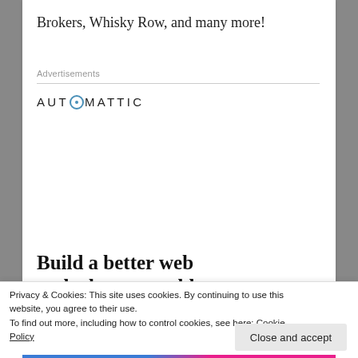Brokers, Whisky Row, and many more!
Advertisements
[Figure (logo): Automattic logo with compass icon replacing the letter O]
[Figure (illustration): Advertisement: Build a better web and a better world. Apply button. Circular photo of a man with glasses.]
Privacy & Cookies: This site uses cookies. By continuing to use this website, you agree to their use.
To find out more, including how to control cookies, see here: Cookie Policy
Close and accept